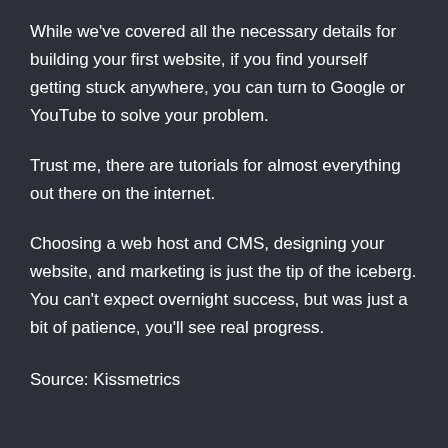While we've covered all the necessary details for building your first website, if you find yourself getting stuck anywhere, you can turn to Google or YouTube to solve your problem.
Trust me, there are tutorials for almost everything out there on the internet.
Choosing a web host and CMS, designing your website, and marketing is just the tip of the iceberg. You can't expect overnight success, but was just a bit of patience, you'll see real progress.
Source: Kissmetrics